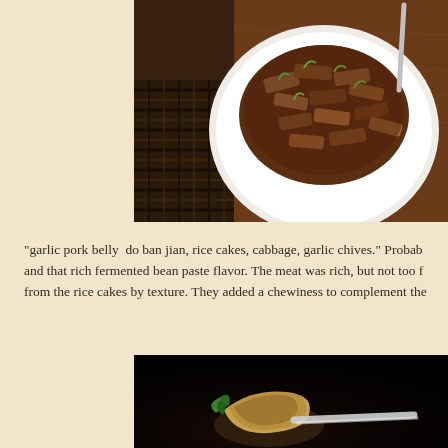[Figure (photo): A white bowl of garlic pork belly dish with rice cakes, cabbage, and garlic chives in a rich dark sauce, served on a wooden table with woven mat.]
“garlic pork belly  do ban jian, rice cakes, cabbage, garlic chives.” Probably and that rich fermented bean paste flavor. The meat was rich, but not too f from the rice cakes by texture. They added a chewiness to complement the
[Figure (photo): A food item served on a dark background, appears to show a browned or seared piece of meat or tofu with green garnish and a utensil beside it.]